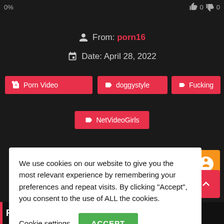0%
0  0
From: porn16
Date: April 28, 2022
Porn Video
doggystyle
Fucking
NetVideoGirls
We use cookies on our website to give you the most relevant experience by remembering your preferences and repeat visits. By clicking “Accept”, you consent to the use of ALL the cookies.
Cookie settings
ACCEPT
Related videos